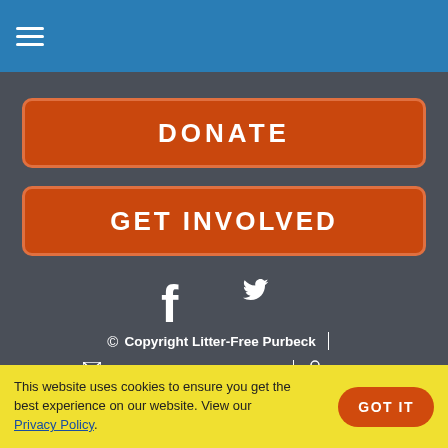☰ (hamburger menu icon)
DONATE
GET INVOLVED
[Figure (illustration): Facebook icon (f) and Twitter bird icon in white on dark grey background]
© Copyright Litter-Free Purbeck | ✉ litterfreepurbeck@gmail.com | 🔒 Login
This website uses cookies to ensure you get the best experience on our website. View our Privacy Policy.
GOT IT